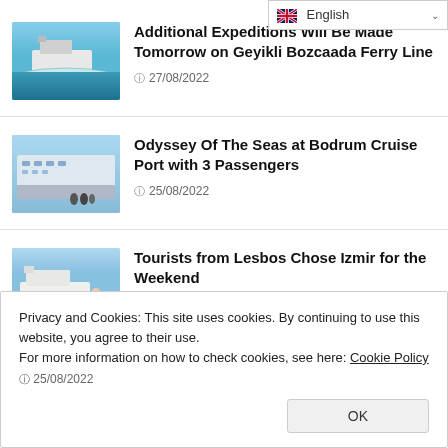[Figure (screenshot): Language selector dropdown showing English with flag icon]
[Figure (photo): Ferry boat on turquoise water, thumbnail image]
Additional Expeditions Will Be Made Tomorrow on Geyikli Bozcaada Ferry Line
27/08/2022
[Figure (photo): Large cruise ship docked at port, thumbnail image]
Odyssey Of The Seas at Bodrum Cruise Port with 3 Passengers
25/08/2022
[Figure (photo): Tourists and ferry boat at dock, thumbnail image]
Tourists from Lesbos Chose Izmir for the Weekend
20/08/2022
Privacy and Cookies: This site uses cookies. By continuing to use this website, you agree to their use.
For more information on how to check cookies, see here: Cookie Policy
OK
25/08/2022